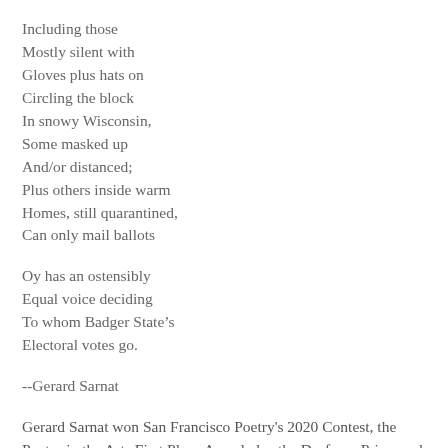Including those
Mostly silent with
Gloves plus hats on
Circling the block
In snowy Wisconsin,
Some masked up
And/or distanced;
Plus others inside warm
Homes, still quarantined,
Can only mail ballots
Oy has an ostensibly
Equal voice deciding
To whom Badger State’s
Electoral votes go.
--Gerard Sarnat
Gerard Sarnat won San Francisco Poetry's 2020 Contest, the Poetry in the Arts First Place Award plus the Dorfman Prize, and has been nominated for handfuls of recent Pushcarts plus Best of the Net Awards. Gerry is widely